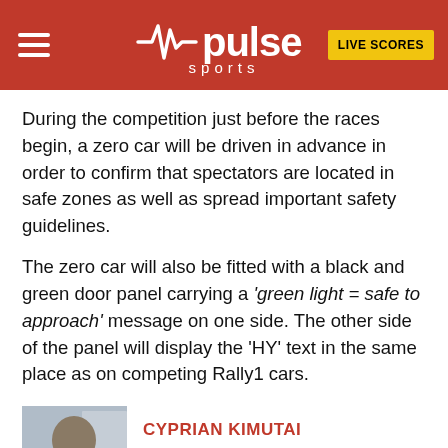pulse sports | LIVE SCORES
During the competition just before the races begin, a zero car will be driven in advance in order to confirm that spectators are located in safe zones as well as spread important safety guidelines.
The zero car will also be fitted with a black and green door panel carrying a ‘green light = safe to approach’ message on one side. The other side of the panel will display the ‘HY’ text in the same place as on competing Rally1 cars.
[Figure (photo): Portrait photo of Cyprian Kimutai]
CYPRIAN KIMUTAI
MORE FROM THE AUTHOR »
Cyprian Kimutai Limo is my full name but most people refer to me as CP. Digital media has opened a new front for journalists, me being one of them. I understand what can be interesting for the audience, therefore I play around